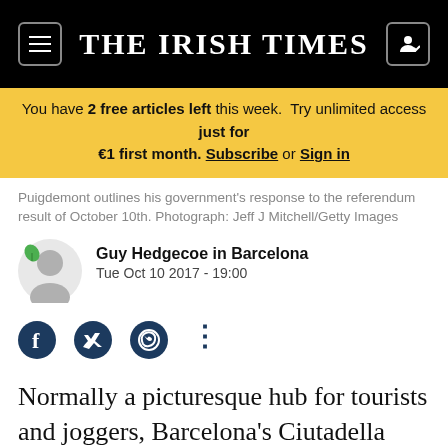THE IRISH TIMES
You have 2 free articles left this week. Try unlimited access just for €1 first month. Subscribe or Sign in
Puigdemont outlines his government's response to the referendum result of October 10th. Photograph: Jeff J Mitchell/Getty Images
Guy Hedgecoe in Barcelona
Tue Oct 10 2017 - 19:00
Normally a picturesque hub for tourists and joggers, Barcelona's Ciutadella Park, where the Catalan parliament is located, was empty